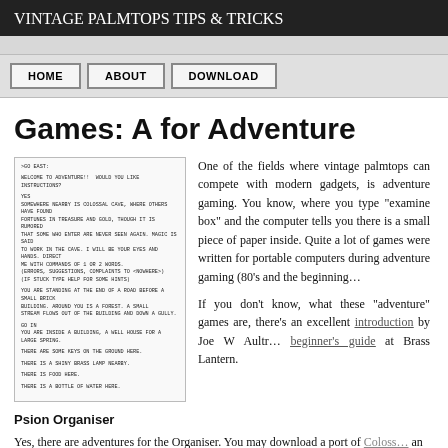VINTAGE PALMTOPS
TIPS & TRICKS
HOME  ABOUT  DOWNLOAD
Games: A for Adventure
[Figure (screenshot): Screenshot of a text adventure game (A for Adventure) running on a vintage palmtop, showing monospace text game output including welcome message, location descriptions, and inventory items.]
One of the fields where vintage palmtops can compete with modern gadgets, is adventure gaming. You know, where you type "examine box" and the computer tells you there is a small piece of paper inside. Quite a lot of games were written for portable computers during the adventure gaming (80's and the beginning...
If you don't know, what these "adventure" games are, excellent introduction by Joe W Aultr... beginner's guide at Brass Lantern.
Psion Organiser
Yes, there are adventures for the Organiser. You may download a port of Coloss... an original game "City of Alzan" from The Psion Organiser II site. They sh... (haven't tested though)